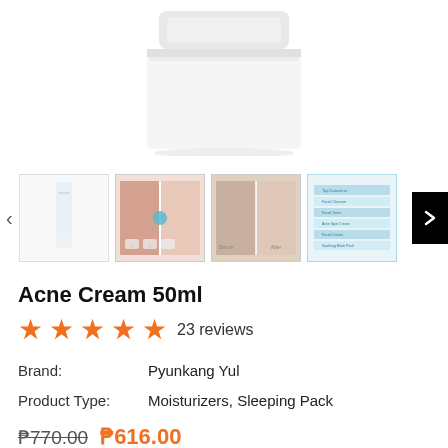[Figure (photo): White cream jar product, top view, partially cropped at top of page]
[Figure (photo): Row of 4 product thumbnails: white tube, before/after skin photo, skin texture comparison, ingredient/product info chart]
Acne Cream 50ml
★★★★★ 23 reviews
Brand: Pyunkang Yul
Product Type: Moisturizers, Sleeping Pack
₱770.00  ₱616.00